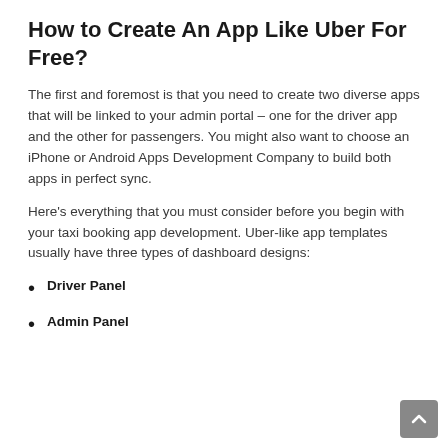How to Create An App Like Uber For Free?
The first and foremost is that you need to create two diverse apps that will be linked to your admin portal – one for the driver app and the other for passengers. You might also want to choose an iPhone or Android Apps Development Company to build both apps in perfect sync.
Here's everything that you must consider before you begin with your taxi booking app development. Uber-like app templates usually have three types of dashboard designs:
Driver Panel
Admin Panel